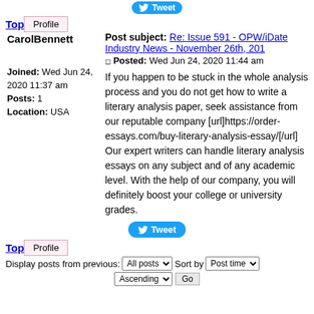[Figure (other): Tweet button (truncated at top)]
Top
Profile
Post subject: Re: Issue 591 - OPW/iDate Industry News - November 26th, 201
Posted: Wed Jun 24, 2020 11:44 am
CarolBennett
Joined: Wed Jun 24, 2020 11:37 am
Posts: 1
Location: USA
If you happen to be stuck in the whole analysis process and you do not get how to write a literary analysis paper, seek assistance from our reputable company [url]https://order-essays.com/buy-literary-analysis-essay/[/url] Our expert writers can handle literary analysis essays on any subject and of any academic level. With the help of our company, you will definitely boost your college or university grades.
[Figure (other): Tweet button]
Top
Profile
Display posts from previous: All posts  Sort by  Post time
Ascending   Go